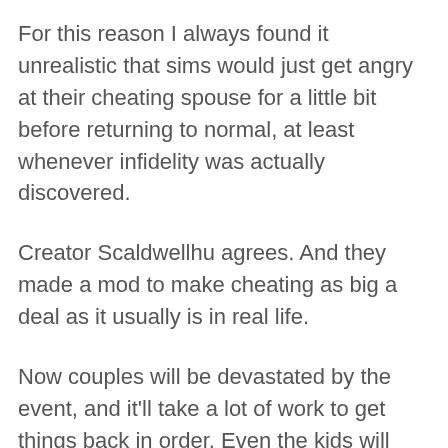For this reason I always found it unrealistic that sims would just get angry at their cheating spouse for a little bit before returning to normal, at least whenever infidelity was actually discovered.
Creator Scaldwellhu agrees. And they made a mod to make cheating as big a deal as it usually is in real life.
Now couples will be devastated by the event, and it'll take a lot of work to get things back in order. Even the kids will feel upset when their parents are in this situation!